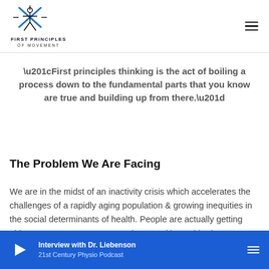[Figure (logo): First Principles of Movement logo with stylized X figure and text]
“First principles thinking is the act of boiling a process down to the fundamental parts that you know are true and building up from there.”
The Problem We Are Facing
We are in the midst of an inactivity crisis which accelerates the challenges of a rapidly aging population & growing inequities in the social determinants of health. People are actually getting older at a younger age. As Stephen Hawking said “The cause
Interview with Dr. Liebenson
21st Century Physio Podcast